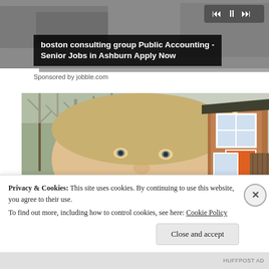[Figure (screenshot): Ad banner with video controls and progress bar at top of page, dark grey background]
boston consulting group Public Accounting - Senior Jobs in Ashburn Apply Now
Sponsored by jobble.com
[Figure (photo): Close-up photo of a young man's face outdoors with a small wooden house with orange door in background and bare trees]
Privacy & Cookies: This site uses cookies. By continuing to use this website, you agree to their use.
To find out more, including how to control cookies, see here: Cookie Policy
Close and accept